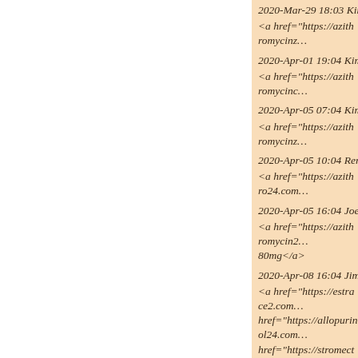2020-Mar-29 18:03 KimTat из
<a href="https://azithromycinz...
2020-Apr-01 19:04 KimTat из
<a href="https://azithromycinc...
2020-Apr-05 07:04 KimTat из
<a href="https://azithromycinz...
2020-Apr-05 10:04 Rertyhuck
<a href="https://azithro24.com...
2020-Apr-05 16:04 JoeTat из
<a href="https://azithromycin2... 80mg</a>
2020-Apr-08 16:04 JimTat из
<a href="https://estrace2.com... href="https://allopurinol24.com... href="https://stromectoliverme...
2020-Apr-14 11:04 bfupabobe
tops pharmacy https://canada... href="https://canadapharmacy...
2020-Apr-16 11:04 bdnbpayn